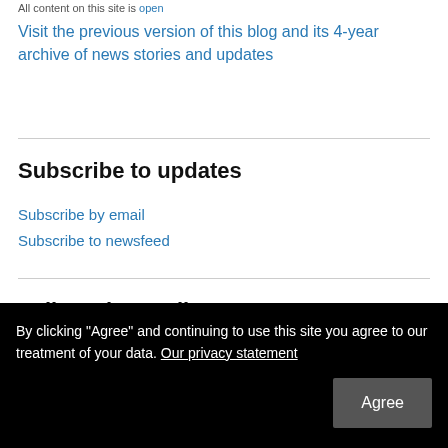All content on this site is open
Visit the previous version of this blog and its 4-year archive of news stories and updates
Subscribe to updates
Subscribe by email
Subscribe to newsfeed
Follow via Email
Enter your email address to follow this site and receive notifications of
By clicking “Agree” and continuing to use this site you agree to our treatment of your data. Our privacy statement
Agree